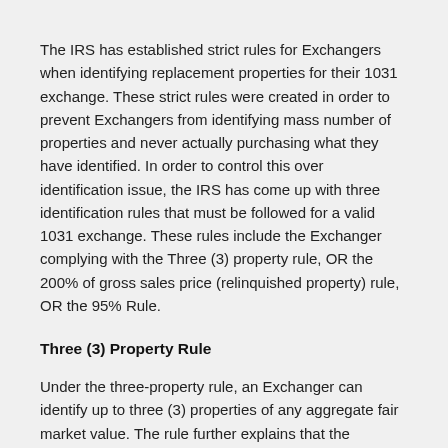The IRS has established strict rules for Exchangers when identifying replacement properties for their 1031 exchange. These strict rules were created in order to prevent Exchangers from identifying mass number of properties and never actually purchasing what they have identified. In order to control this over identification issue, the IRS has come up with three identification rules that must be followed for a valid 1031 exchange. These rules include the Exchanger complying with the Three (3) property rule, OR the 200% of gross sales price (relinquished property) rule, OR the 95% Rule.
Three (3) Property Rule
Under the three-property rule, an Exchanger can identify up to three (3) properties of any aggregate fair market value. The rule further explains that the Exchanger does not need to purchase all three (3) properties identified, the Exchanger can purchase just one of the properties and still complete a valid exchange.